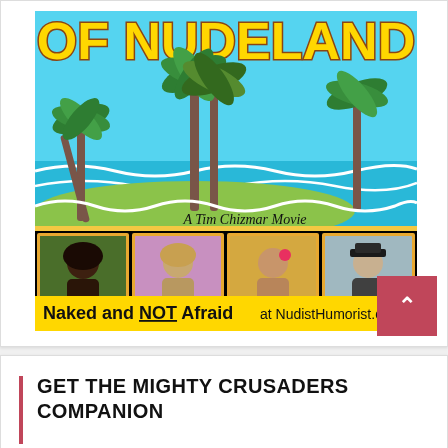[Figure (illustration): Movie poster for 'Of Nudeland' - A Tim Chizmar Movie. Shows a tropical beach scene with palm trees and ocean. Below the scene text reads 'A Tim Chizmar Movie'. Four actor photos are shown in orange-bordered frames at the bottom of the poster. Text at bottom reads 'Naked and NOT Afraid at NudistHumorist.com'.]
GET THE MIGHTY CRUSADERS COMPANION